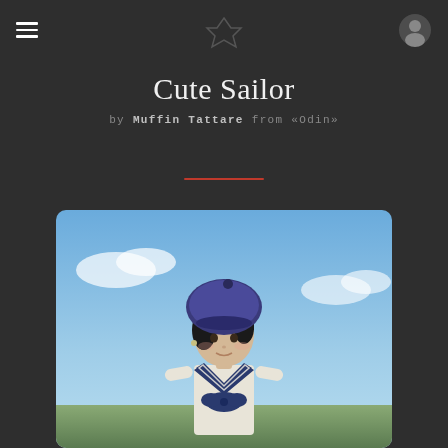Navigation header with hamburger menu, logo, and user icon
Cute Sailor
by Muffin Tattare from «Odin»
[Figure (screenshot): Screenshot from a video game (Final Fantasy XIV) showing a female character with a dark blue beret and sailor-style outfit, set against a blue sky with clouds. The character has dark hair and is wearing a navy blue sailor collar/scarf outfit.]